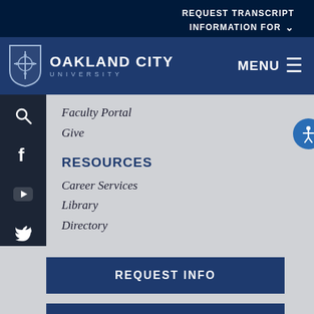REQUEST TRANSCRIPT
INFORMATION FOR
[Figure (logo): Oakland City University shield logo with cross and book design, white on navy blue]
OAKLAND CITY UNIVERSITY
MENU
Faculty Portal
Give
RESOURCES
Career Services
Library
Directory
REQUEST INFO
VISIT